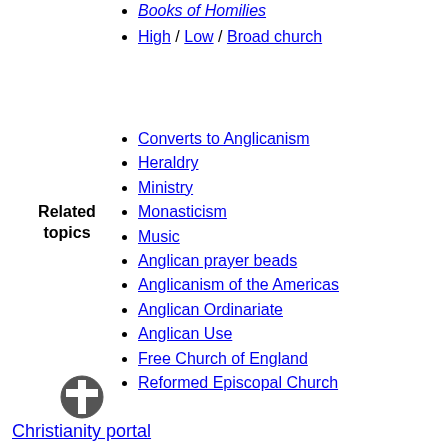Books of Homilies
High / Low / Broad church
Related topics
Converts to Anglicanism
Heraldry
Ministry
Monasticism
Music
Anglican prayer beads
Anglicanism of the Americas
Anglican Ordinariate
Anglican Use
Free Church of England
Reformed Episcopal Church
Christianity portal